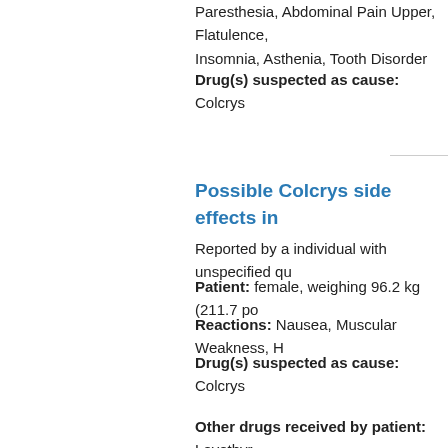Paresthesia, Abdominal Pain Upper, Flatulence, Insomnia, Asthenia, Tooth Disorder
Drug(s) suspected as cause: Colcrys
Possible Colcrys side effects in
Reported by a individual with unspecified qu
Patient: female, weighing 96.2 kg (211.7 po
Reactions: Nausea, Muscular Weakness, H
Drug(s) suspected as cause: Colcrys
Other drugs received by patient: Levothyr
Possible Colcrys side effects in
Reported by a individual with unspecified qu